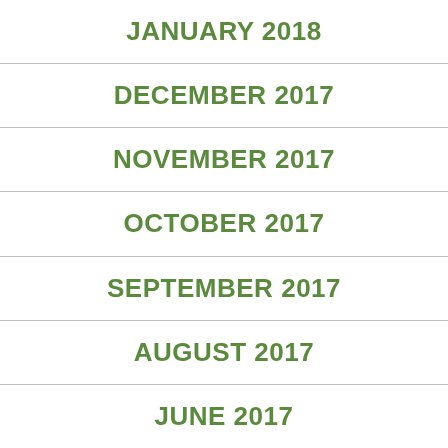JANUARY 2018
DECEMBER 2017
NOVEMBER 2017
OCTOBER 2017
SEPTEMBER 2017
AUGUST 2017
JUNE 2017